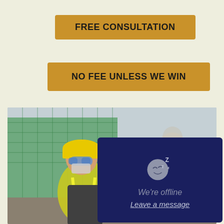FREE CONSULTATION
NO FEE UNLESS WE WIN
[Figure (photo): Construction worker wearing yellow hard hat, safety goggles, and high-visibility vest at a construction site with green safety netting in background]
[Figure (screenshot): Dark navy chat widget showing sleeping face emoji with Z letters, 'We're offline' text, and 'Leave a message' link]